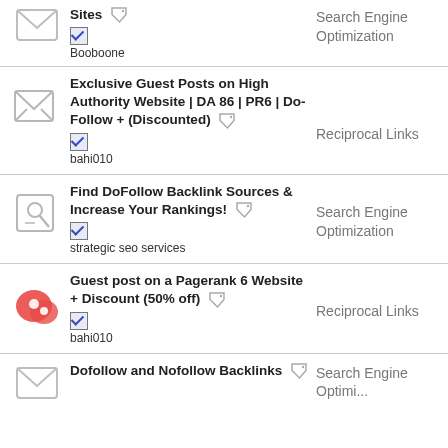Sites
Booboone | Search Engine Optimization
Exclusive Guest Posts on High Authority Website | DA 86 | PR6 | Do-Follow + (Discounted)
bahi010 | Reciprocal Links
Find DoFollow Backlink Sources & Increase Your Rankings!
strategic seo services | Search Engine Optimization
Guest post on a Pagerank 6 Website + Discount (50% off)
bahi010 | Reciprocal Links
Dofollow and Nofollow Backlinks | Search Engine Optimization